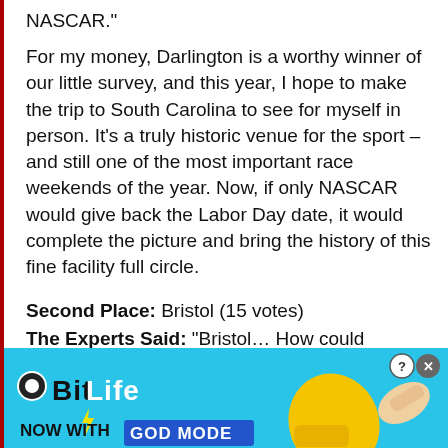NASCAR.”
For my money, Darlington is a worthy winner of our little survey, and this year, I hope to make the trip to South Carolina to see for myself in person. It’s a truly historic venue for the sport – and still one of the most important race weekends of the year. Now, if only NASCAR would give back the Labor Day date, it would complete the picture and bring the history of this fine facility full circle.
Second Place: Bristol (15 votes)
The Experts Said: “Bristol… How could
[Figure (screenshot): BitLife mobile game advertisement banner with cyan background, 'NOW WITH GOD MODE' text, thumbs-up graphic, and close/help buttons.]